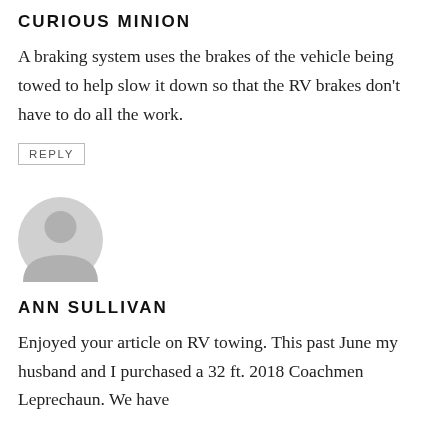CURIOUS MINION
A braking system uses the brakes of the vehicle being towed to help slow it down so that the RV brakes don't have to do all the work.
REPLY
[Figure (illustration): Generic grey user avatar icon — circular silhouette with head and shoulders]
ANN SULLIVAN
Enjoyed your article on RV towing. This past June my husband and I purchased a 32 ft. 2018 Coachmen Leprechaun. We have